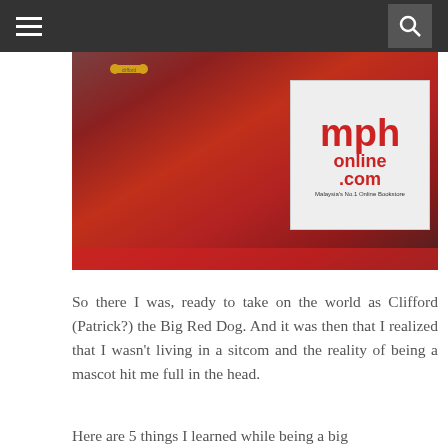Navigation menu and search icon
[Figure (photo): Person in a red Clifford the Big Red Dog mascot costume standing in front of an MPH Online bookstore banner/sign. The sign reads 'mph online .com Malaysia's No.1 Online Bookstore'. The mascot has a yellow bone tag around its neck.]
So there I was, ready to take on the world as Clifford (Patrick?) the Big Red Dog. And it was then that I realized that I wasn't living in a sitcom and the reality of being a mascot hit me full in the head.
Here are 5 things I learned while being a big